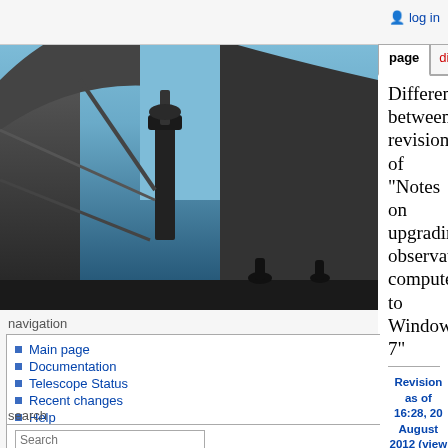log in
page | discussion | view source | history
[Figure (photo): Interior of an observatory dome showing telescope and open dome slit against blue sky]
Difference between revisions of "Notes on upgrading observatory computer to Windows 7"
navigation
Main page
Documentation
Telescope Status
Recent changes
Help
search
tools
What links here
Related changes
Special pages
Printable version
Revision as of 16:28, 20 August 2012 (view source)
Ejensen1 (Talk | contribs)
(→Software installation)
← Older edit
Revision as of 16:30, 20 August 2012 (view source)
Ejensen1 (Talk | contribs)
(→Software installation)
Newer edit →
Line 51:
Line 51:
# Other than that, the MaximDL settings all seem to be there and to be
# Other than that, the MaximDL settings all seem to be there and to be